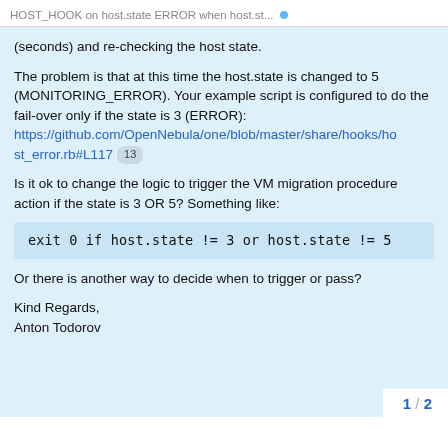HOST_HOOK on host.state ERROR when host.st...
(seconds) and re-checking the host state.
The problem is that at this time the host.state is changed to 5 (MONITORING_ERROR). Your example script is configured to do the fail-over only if the state is 3 (ERROR): https://github.com/OpenNebula/one/blob/master/share/hooks/host_error.rb#L117  13
Is it ok to change the logic to trigger the VM migration procedure action if the state is 3 OR 5? Something like:
exit 0 if host.state != 3 or host.state != 5
Or there is another way to decide when to trigger or pass?
Kind Regards,
Anton Todorov
1 / 2